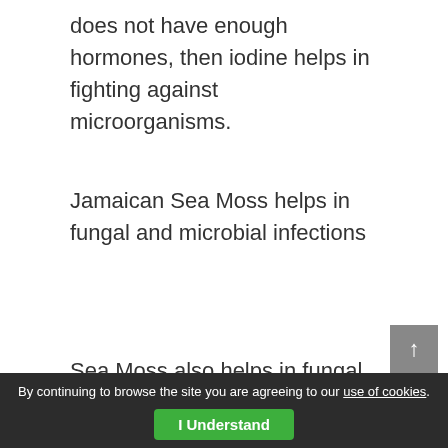does not have enough hormones, then iodine helps in fighting against microorganisms.
Jamaican Sea Moss helps in fungal and microbial infections
Sea Moss also helps in fungal and microbial infections.
Sea Moss Builds Immune System
By continuing to browse the site you are agreeing to our use of cookies. I Understand